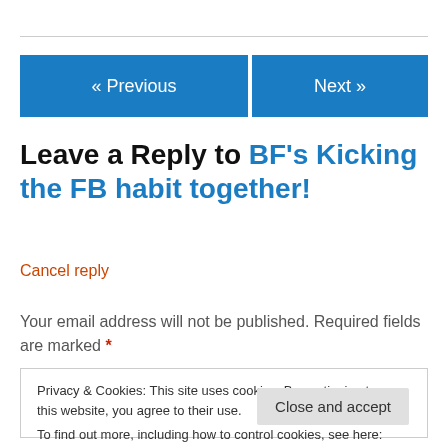Leave a Reply to BF's Kicking the FB habit together!
Cancel reply
Your email address will not be published. Required fields are marked *
Privacy & Cookies: This site uses cookies. By continuing to use this website, you agree to their use.
To find out more, including how to control cookies, see here: Cookie Policy